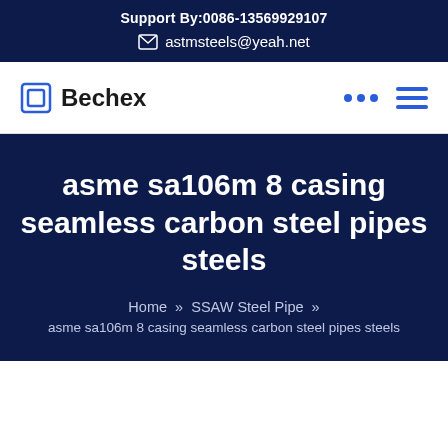Support By:0086-13569929107
astmsteels@yeah.net
Bechex
asme sa106m 8 casing seamless carbon steel pipes steels
Home » SSAW Steel Pipe » asme sa106m 8 casing seamless carbon steel pipes steels